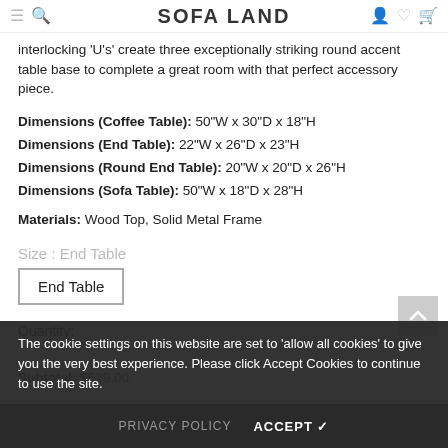SOFA LAND
interlocking 'U's' create three exceptionally striking round accent table base to complete a great room with that perfect accessory piece.
Dimensions (Coffee Table): 50"W x 30"D x 18"H
Dimensions (End Table): 22"W x 26"D x 23"H
Dimensions (Round End Table): 20"W x 20"D x 26"H
Dimensions (Sofa Table): 50"W x 18"D x 28"H
Materials: Wood Top, Solid Metal Frame
Size : End Table
End Table
Quantity:
Subtotal: $629.00
The cookie settings on this website are set to 'allow all cookies' to give you the very best experience. Please click Accept Cookies to continue to use the site.
PRIVACY POLICY   ACCEPT ✓